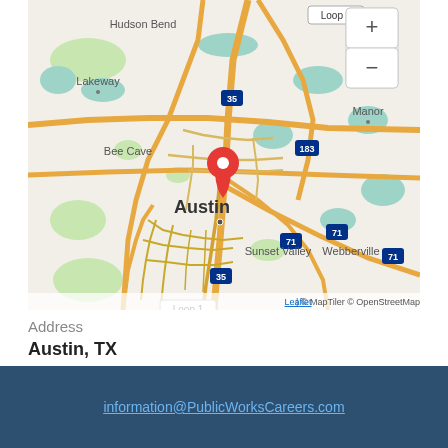[Figure (map): Interactive map centered on Austin, TX showing surrounding areas including Hudson Bend, Lakeway, Bee Cave, Manor, Sunset Valley, Webberville, Manchaca, Buda, Creed. Major roads shown including I-35, Loop 1, Highway 183, Highway 71. Red map pin marker placed on Austin city center. Map attribution: Leaflet | © MapTiler © OpenStreetMap. Zoom +/- controls visible in upper right.]
Address
Austin, TX
information@PublicWorksCareers.com